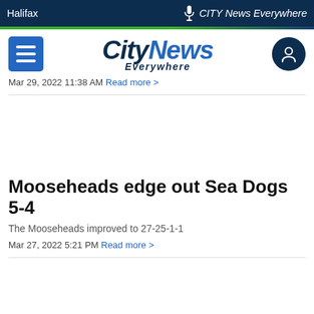Halifax | CITY News Everywhere
[Figure (logo): CityNews Everywhere logo with hamburger menu and user icon]
Mar 29, 2022 11:38 AM Read more >
Mooseheads edge out Sea Dogs 5-4
The Mooseheads improved to 27-25-1-1
Mar 27, 2022 5:21 PM Read more >